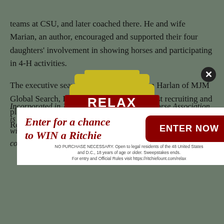teams at CSU, and later coached there. He and wife Marian, an author, encouraged and supported their four daughters' involvement in showing horses and participating in 4-H activities.
The executive search was provided by Jim Harlan of MJM Global Search, Inc., an affiliate of the largest recruiting and placement organization in the world, Management Recruiters International.
[Figure (logo): Ritchie Sweepstakes advertisement overlay with badge logo reading RELAX IT'S A Ritchie SWEEPSTAKES, with a close button (X) in top right, and a dark red entry box at bottom with text 'Enter for a chance to WIN a Ritchie' and an ENTER NOW button. Legal disclaimer text reads: NO PURCHASE NECESSARY. Open to legal residents of the 48 United States and D.C., 18 years of age or older. Sweepstakes ends. For entry and Official Rules visit https://ritchiefount.com/relax]
Incorporated in 1966, the National Reining Horse Association is the standard-setting body of the sport of Reining. NRHA, with its international headquarters in Oklahoma City, is committed to